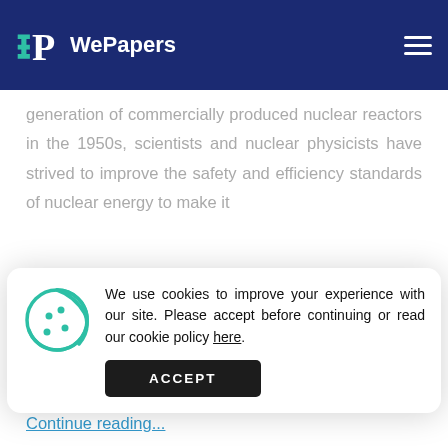WePapers
generation of commercially produced nuclear reactors in the 1950s, scientists and nuclear physicists have strived to improve the safety and efficiency standards of nuclear energy to make it
[Figure (other): Cookie consent popup with cookie icon, message about cookies, a link 'here', and an ACCEPT button]
by nuclear fission, and harness the energy produced by the splitting and control to convert it to electricity. Continue reading...